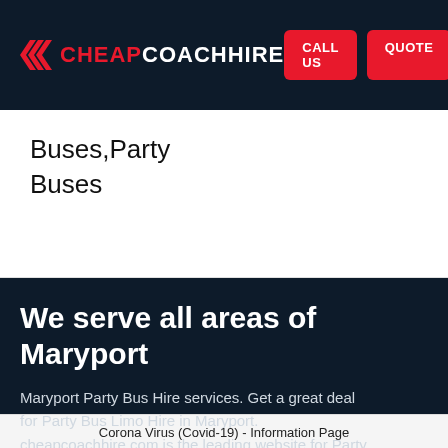CHEAPCOACHHIRE  CALL US  QUOTE
Buses,Party Buses
We serve all areas of Maryport
Maryport Party Bus Hire services. Get a great deal for Party Bus Limo Hire in Maryport. cheapcoachhire.com is the leading website for Party
Corona Virus (Covid-19) - Information Page